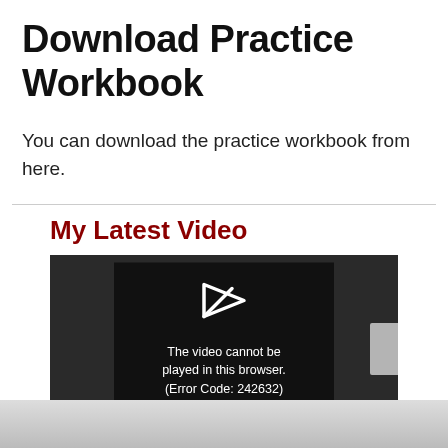Download Practice Workbook
You can download the practice workbook from here.
My Latest Video
[Figure (screenshot): Embedded video player showing an error: play button icon and text 'The video cannot be played in this browser. (Error Code: 242632)']